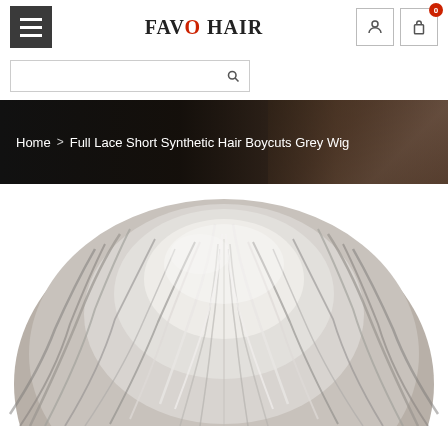FAVO HAIR
Home > Full Lace Short Synthetic Hair Boycuts Grey Wig
[Figure (photo): Top-down view of a short grey/silver synthetic wig styled in a boycut, showing textured grey and white hair against a white background.]